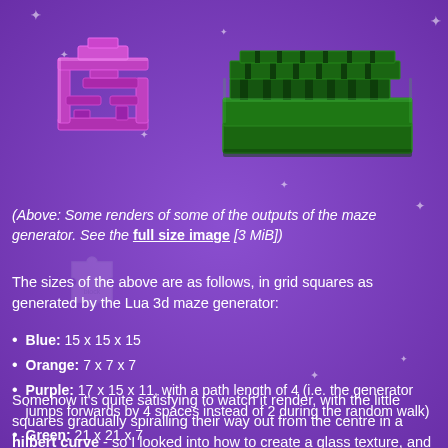[Figure (illustration): Purple/magenta 3D rendered maze structure on purple background, left side]
[Figure (illustration): Green 3D rendered flat maze structure on purple background, right side]
(Above: Some renders of some of the outputs of the maze generator. See the full size image [3 MiB])
The sizes of the above are as follows, in grid squares as generated by the Lua 3d maze generator:
Blue: 15 x 15 x 15
Orange: 7 x 7 x 7
Purple: 17 x 15 x 11, with a path length of 4 (i.e. the generator jumps forwards by 4 spaces instead of 2 during the random walk)
Green: 21 x 21 x 7
Somehow it's quite satisfying to watch it render, with the little squares gradually spiralling their way out from the centre in a hilbert curve - so I looked into how to create a glass texture, and how to setup volumetric